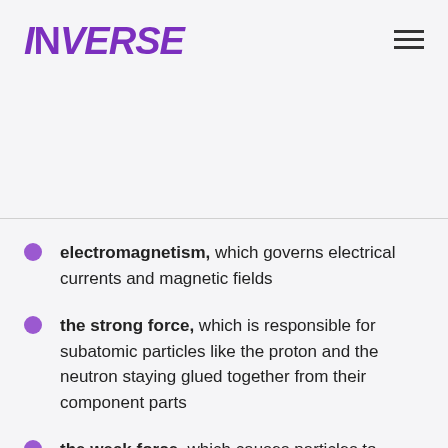INVERSE
electromagnetism, which governs electrical currents and magnetic fields
the strong force, which is responsible for subatomic particles like the proton and the neutron staying glued together from their component parts
the weak force, which causes particles to decay